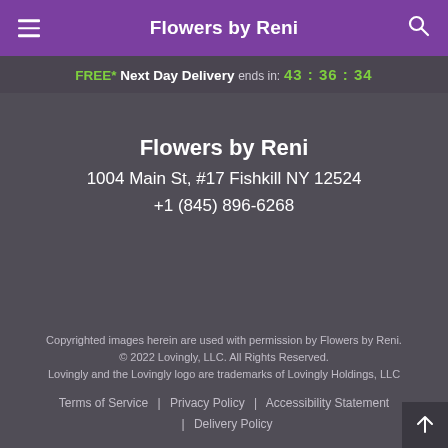Flowers by Reni
FREE* Next Day Delivery ends in: 43 : 36 : 34
Flowers by Reni
1004 Main St, #17 Fishkill NY 12524
+1 (845) 896-6268
Copyrighted images herein are used with permission by Flowers by Reni.
© 2022 Lovingly, LLC. All Rights Reserved.
Lovingly and the Lovingly logo are trademarks of Lovingly Holdings, LLC
Terms of Service | Privacy Policy | Accessibility Statement | Delivery Policy